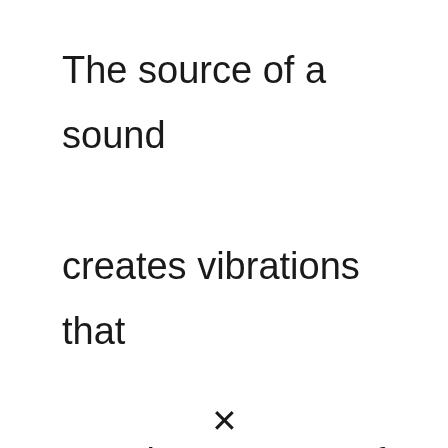The source of a sound creates vibrations that travels as waves of pressure through particles in air, liquid,